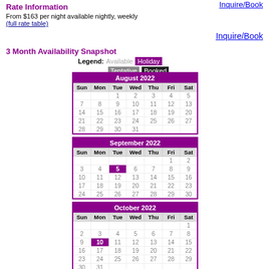Inquire/Book
Rate Information
From $163 per night available nightly, weekly
(full rate table)
Inquire/Book
3 Month Availability Snapshot
Legend: Available Holiday Tentative Booked
[Figure (other): August 2022 availability calendar with days 1-31. Day 5 of September marked holiday (purple). Day 10 of October marked holiday (purple).]
[Figure (other): September 2022 availability calendar with days 1-30. Day 5 marked as Holiday (purple).]
[Figure (other): October 2022 availability calendar with days 1-31. Day 10 marked as Holiday (purple).]